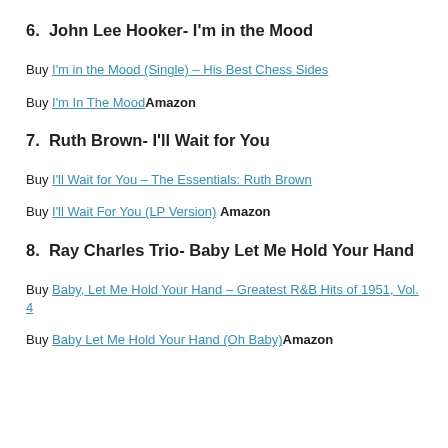6.  John Lee Hooker- I'm in the Mood
Buy I'm in the Mood (Single) – His Best Chess Sides
Buy I'm In The Mood Amazon
7.  Ruth Brown- I'll Wait for You
Buy I'll Wait for You – The Essentials: Ruth Brown
Buy I'll Wait For You (LP Version)  Amazon
8.  Ray Charles Trio- Baby Let Me Hold Your Hand
Buy Baby, Let Me Hold Your Hand – Greatest R&B Hits of 1951, Vol. 4
Buy Baby Let Me Hold Your Hand (Oh Baby) Amazon